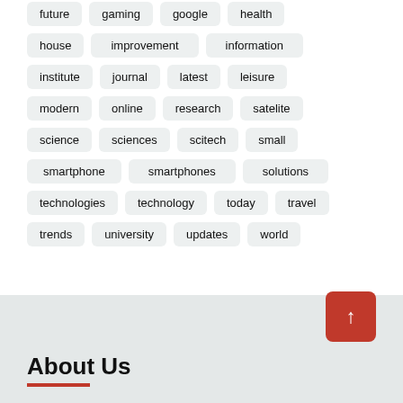future
gaming
google
health
house
improvement
information
institute
journal
latest
leisure
modern
online
research
satelite
science
sciences
scitech
small
smartphone
smartphones
solutions
technologies
technology
today
travel
trends
university
updates
world
About Us